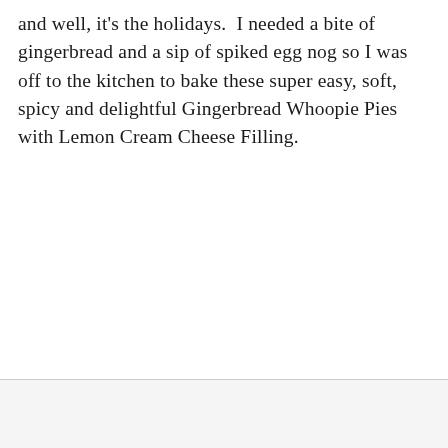and well, it's the holidays.  I needed a bite of gingerbread and a sip of spiked egg nog so I was off to the kitchen to bake these super easy, soft, spicy and delightful Gingerbread Whoopie Pies with Lemon Cream Cheese Filling.